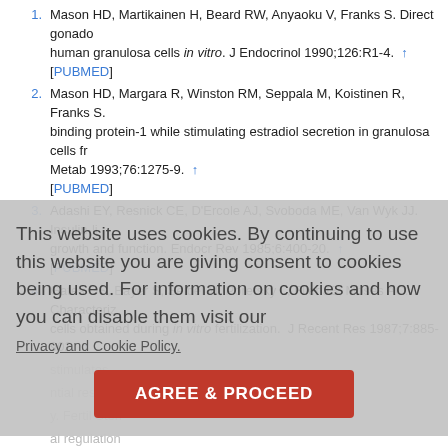1. Mason HD, Martikainen H, Beard RW, Anyaoku V, Franks S. Direct gonado... human granulosa cells in vitro. J Endocrinol 1990;126:R1-4. [PUBMED]
2. Mason HD, Margara R, Winston RM, Seppala M, Koistinen R, Franks S. ...binding protein-1 while stimulating estradiol secretion in granulosa cells fr... Metab 1993;76:1275-9. [PUBMED]
3. Adashi EY, Resnick CE, D'Ercole AJ, Svoboda ME, Van Wyk JJ. Insulin-li... growth and function. Endocr Rev 1985;6:400-20. [PUBMED]
4. Gates GS, Bayer S, Seibel M, Poretsky L, Flier JS, Moses AC. Characteriz... cells obtained during in vitro fertilization. J Recent Res 1987;7:885-902. ... stimulates ... ntial respons... y. Fertil Steri... al regulation... ...h AJ. Horm... 1996;137:14... [PUBMED]
9. Poretsky L, Cataldo NA, Rosenwaks Z, Giudice LC. The insulin-related...
This website uses cookies. By continuing to use this website you are giving consent to cookies being used. For information on cookies and how you can disable them visit our Privacy and Cookie Policy. AGREE & PROCEED